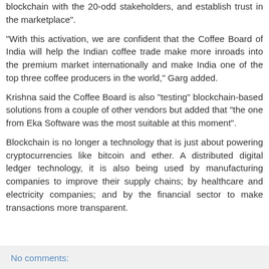blockchain with the 20-odd stakeholders, and establish trust in the marketplace".
“With this activation, we are confident that the Coffee Board of India will help the Indian coffee trade make more inroads into the premium market internationally and make India one of the top three coffee producers in the world,” Garg added.
Krishna said the Coffee Board is also “testing” blockchain-based solutions from a couple of other vendors but added that “the one from Eka Software was the most suitable at this moment”.
Blockchain is no longer a technology that is just about powering cryptocurrencies like bitcoin and ether. A distributed digital ledger technology, it is also being used by manufacturing companies to improve their supply chains; by healthcare and electricity companies; and by the financial sector to make transactions more transparent.
No comments: